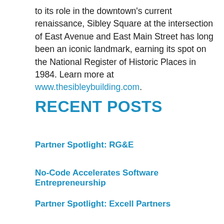to its role in the downtown's current renaissance, Sibley Square at the intersection of East Avenue and East Main Street has long been an iconic landmark, earning its spot on the National Register of Historic Places in 1984. Learn more at www.thesibleybuilding.com.
RECENT POSTS
Partner Spotlight: RG&E
No-Code Accelerates Software Entrepreneurship
Partner Spotlight: Excell Partners